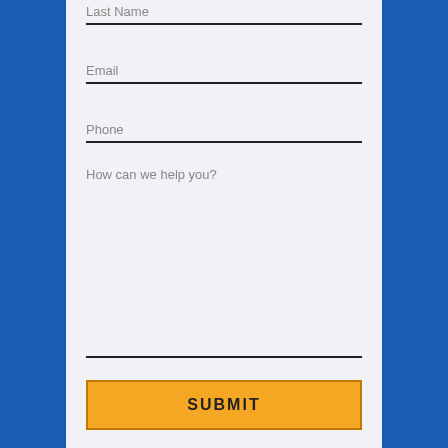Last Name
Email
Phone
How can we help you?
SUBMIT